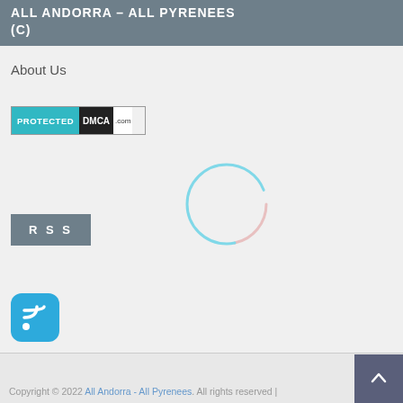ALL ANDORRA – ALL PYRENEES (C)
About Us
[Figure (logo): PROTECTED DMCA.com badge]
[Figure (other): Loading spinner circle]
[Figure (other): RSS button grey rectangle with text RSS]
[Figure (logo): RSS feed icon in blue rounded square]
Copyright © 2022 All Andorra - All Pyrenees. All rights reserved |